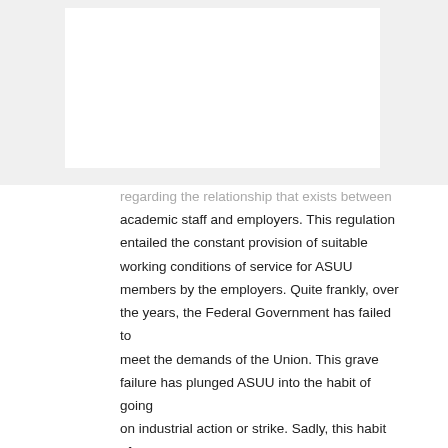regarding the relationship that exists between academic staff and employers. This regulation entailed the constant provision of suitable working conditions of service for ASUU members by the employers. Quite frankly, over the years, the Federal Government has failed to meet the demands of the Union. This grave failure has plunged ASUU into the habit of going on industrial action or strike. Sadly, this habit of calling strikes has been a fruitful means of making their voices heard and getting the desired and required attention to their demands.
On February 14th 2022, ASUU went on another strike. This strike came as no surprise to the Minister of Labour and Employment, Dr. Chris